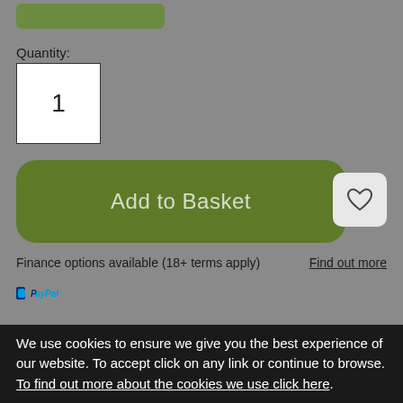[Figure (other): Partially visible green button at top of page]
Quantity:
1
[Figure (other): Add to Basket green rounded button]
[Figure (other): Wishlist heart icon button]
Finance options available (18+ terms apply)
Find out more
[Figure (logo): PayPal logo]
The essential map for outdoor activities in Torquay and Dawlish. The OS Explorer Map is the Ordnance Survey's most detailed folding map and is recommended for anyone enjoying outdoor activities including walking, horse riding and off-road cycling. This map now comes with a digital version which you can download to your smartphone or
We use cookies to ensure we give you the best experience of our website. To accept click on any link or continue to browse. To find out more about the cookies we use click here.